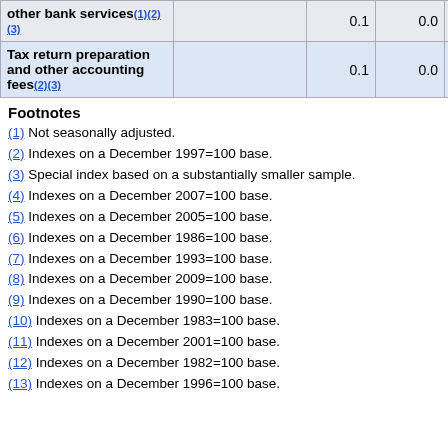|  |  |  | 0.1 | 0.0 | 0.0 |
| --- | --- | --- | --- | --- | --- |
| other bank services(1)(2)(3) |  |  | 0.1 | 0.0 | 0.0 |
| Tax return preparation and other accounting fees(2)(3) |  |  | 0.1 | 0.0 | 0.6 |
Footnotes
(1) Not seasonally adjusted.
(2) Indexes on a December 1997=100 base.
(3) Special index based on a substantially smaller sample.
(4) Indexes on a December 2007=100 base.
(5) Indexes on a December 2005=100 base.
(6) Indexes on a December 1986=100 base.
(7) Indexes on a December 1993=100 base.
(8) Indexes on a December 2009=100 base.
(9) Indexes on a December 1990=100 base.
(10) Indexes on a December 1983=100 base.
(11) Indexes on a December 2001=100 base.
(12) Indexes on a December 1982=100 base.
(13) Indexes on a December 1996=100 base.